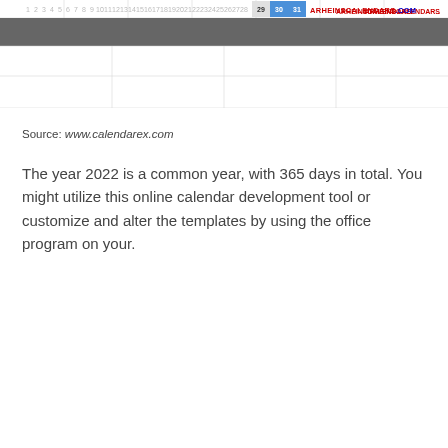[Figure (screenshot): Partial screenshot of a 2022 calendar grid showing the bottom rows with numbers 29, 30, 31 visible and a dark header row, with a logo 'ARHEINSCALENDARS.COM' in red/blue text in the top right corner]
Source: www.calendarex.com
The year 2022 is a common year, with 365 days in total. You might utilize this online calendar development tool or customize and alter the templates by using the office program on your.